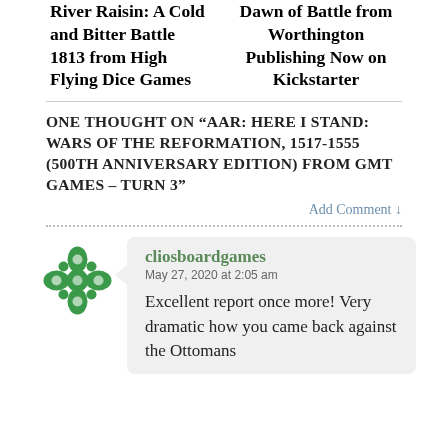River Raisin: A Cold and Bitter Battle 1813 from High Flying Dice Games
Dawn of Battle from Worthington Publishing Now on Kickstarter
ONE THOUGHT ON “AAR: HERE I STAND: WARS OF THE REFORMATION, 1517-1555 (500TH ANNIVERSARY EDITION) FROM GMT GAMES – TURN 3”
Add Comment ↓
cliosboardgames
May 27, 2020 at 2:05 am

Excellent report once more! Very dramatic how you came back against the Ottomans